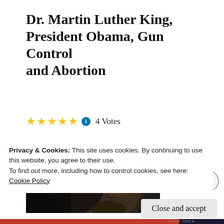Dr. Martin Luther King, President Obama, Gun Control and Abortion
★★★★★ ℹ 4 Votes
[Figure (photo): Black and white close-up portrait photograph of a man's face, partially visible, looking upward against a dark background.]
Today, we cele
Privacy & Cookies: This site uses cookies. By continuing to use this website, you agree to their use.
To find out more, including how to control cookies, see here:
Cookie Policy
Close and accept